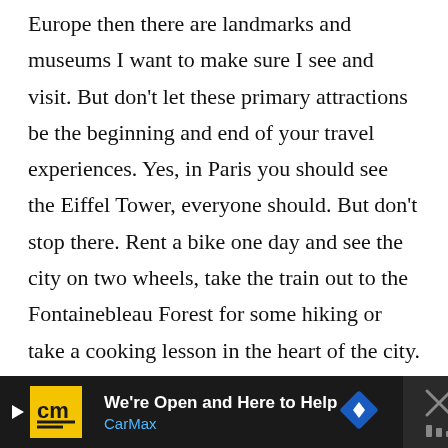Europe then there are landmarks and museums I want to make sure I see and visit. But don't let these primary attractions be the beginning and end of your travel experiences. Yes, in Paris you should see the Eiffel Tower, everyone should. But don't stop there. Rent a bike one day and see the city on two wheels, take the train out to the Fontainebleau Forest for some hiking or take a cooking lesson in the heart of the city. Do some research, think creatively and seek out experiences that will create a more robust, and fun, vacation. Don't limit yourself to the top ten landmarks in your guidebook, instead look around you and find ways to step back and REALLY experience the area.
[Figure (other): CarMax advertisement banner: black background with CarMax yellow logo (cm), text 'We're Open and Here to Help' in white, 'CarMax' in blue, blue navigation diamond icon, and a close/mute button on the right.]